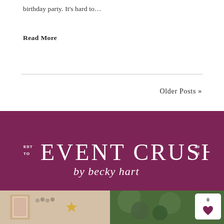birthday party. It's hard to…
Read More
Older Posts »
[Figure (logo): Event Crush by Becky Hart logo on dark magenta/plum background. Large serif letters EVENT CRUSH with 'by becky hart' in script below. EST TO on left, 2012 on right.]
[Figure (photo): Photo of party supplies including a framed LOVE sign, beaded garland, and star decorations on a white surface.]
[Figure (photo): Photo of green trees/foliage with a white card badge showing the number 0 and a heart icon.]